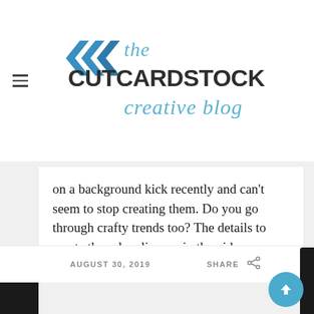[Figure (logo): The CutCardStock Creative Blog logo with double chevron/arrow icon in blue and dark grey text]
on a background kick recently and can't seem to stop creating them. Do you go through crafty trends too? The details to create these lovelies are in the video as ...
AUGUST 30, 2019   SHARE